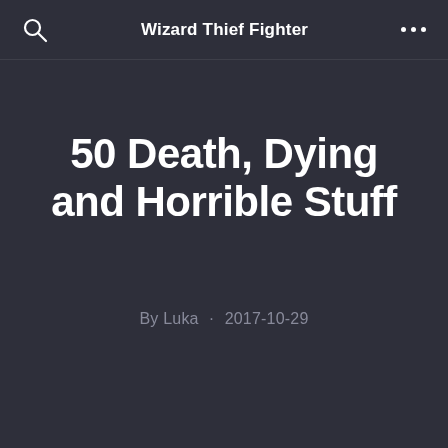Wizard Thief Fighter
50 Death, Dying and Horrible Stuff
By Luka · 2017-10-29